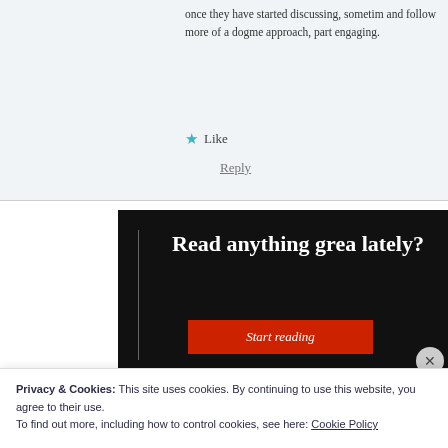once they have started discussing, sometimes stop and follow more of a dogme approach, part engaging.
★ Like
Reply
[Figure (screenshot): Advertisement banner with black background showing 'Read anything great lately?' text and a red 'Start reading' button, with a gray close (X) button in the corner.]
Privacy & Cookies: This site uses cookies. By continuing to use this website, you agree to their use.
To find out more, including how to control cookies, see here: Cookie Policy
Close and accept